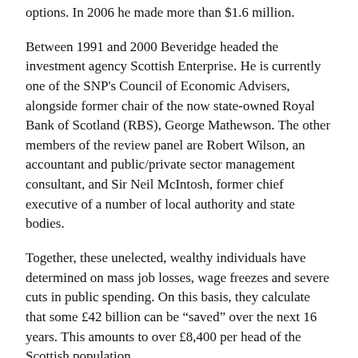options. In 2006 he made more than $1.6 million.
Between 1991 and 2000 Beveridge headed the investment agency Scottish Enterprise. He is currently one of the SNP's Council of Economic Advisers, alongside former chair of the now state-owned Royal Bank of Scotland (RBS), George Mathewson. The other members of the review panel are Robert Wilson, an accountant and public/private sector management consultant, and Sir Neil McIntosh, former chief executive of a number of local authority and state bodies.
Together, these unelected, wealthy individuals have determined on mass job losses, wage freezes and severe cuts in public spending. On this basis, they calculate that some £42 billion can be “saved” over the next 16 years. This amounts to over £8,400 per head of the Scottish population.